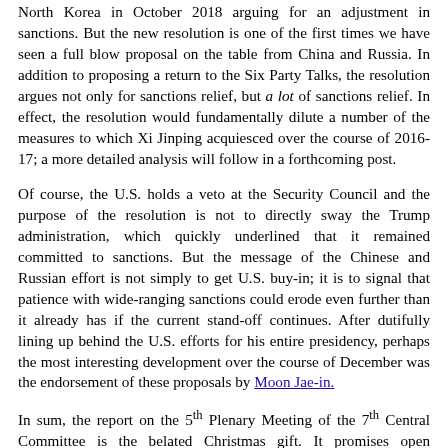North Korea in October 2018 arguing for an adjustment in sanctions. But the new resolution is one of the first times we have seen a full blow proposal on the table from China and Russia. In addition to proposing a return to the Six Party Talks, the resolution argues not only for sanctions relief, but a lot of sanctions relief. In effect, the resolution would fundamentally dilute a number of the measures to which Xi Jinping acquiesced over the course of 2016-17; a more detailed analysis will follow in a forthcoming post.
Of course, the U.S. holds a veto at the Security Council and the purpose of the resolution is not to directly sway the Trump administration, which quickly underlined that it remained committed to sanctions. But the message of the Chinese and Russian effort is not simply to get U.S. buy-in; it is to signal that patience with wide-ranging sanctions could erode even further than it already has if the current stand-off continues. After dutifully lining up behind the U.S. efforts for his entire presidency, perhaps the most interesting development over the course of December was the endorsement of these proposals by Moon Jae-in.
In sum, the report on the 5th Plenary Meeting of the 7th Central Committee is the belated Christmas gift. It promises open confrontation on the nuclear and missile front, backed by a commitment to tough out whatever additional sanctions the U.S. tries to impose. But as critics have long argued, sanctions regimes are hard to sustain. The U.S. could end up going into this fight with